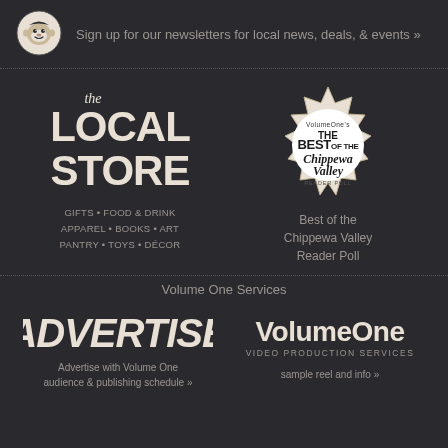[Figure (logo): Mailchimp monkey face icon in circle]
Sign up for our newsletters for local news, deals, & events »
[Figure (logo): The Local Store logo with large LOCAL STORE text]
GIFTS • FOOD & DRINK
APPAREL • BOOKS • ART
PANTRY • TOYS • DÉCOR
[Figure (logo): Volume One's The Best of the Chippewa Valley Reader Poll badge/seal]
Best of the
Chippewa Valley
Reader Poll
Volume One Services
[Figure (logo): ADVERTISE text logo in bold italic]
Advertise with Volume One
audience & publishing schedule »
[Figure (logo): VolumeOne VIDEO PRODUCTION SERVICES logo]
sample reel and info »